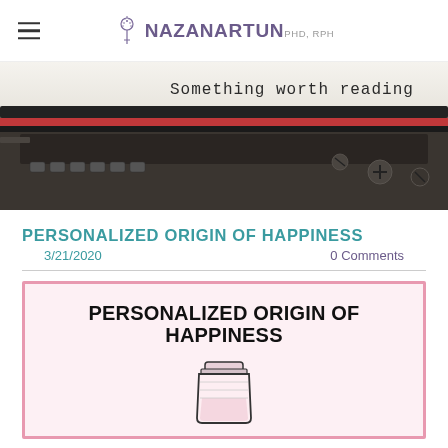Nazan Artun PHD, RPH
[Figure (photo): Close-up photo of a vintage typewriter with paper inserted reading 'Something worth reading', showing the typewriter's mechanical details including the red and black ribbon and metal components.]
PERSONALIZED ORIGIN OF HAPPINESS
3/21/2020
0 Comments
[Figure (infographic): Infographic with pink border and pink background showing the text 'PERSONALIZED ORIGIN OF HAPPINESS' in bold black letters and an illustration of a jar/container below.]